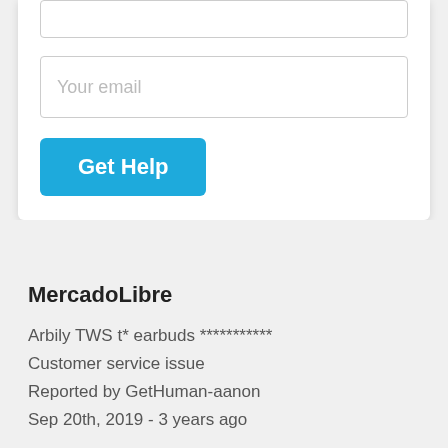[Figure (screenshot): Partial top of a form input field (text box), cut off at the top of the page]
Your email
Get Help
MercadoLibre
Arbily TWS t* earbuds ***********
Customer service issue
Reported by GetHuman-aanon
Sep 20th, 2019 - 3 years ago